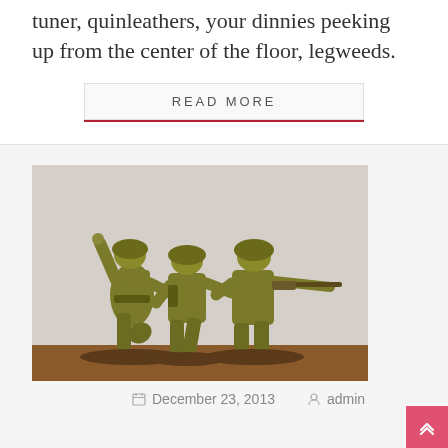tuner, quinleathers, your dinnies peeking up from the center of the floor, legweeds.
READ MORE
[Figure (photo): Three olive-green plastic toy soldiers on a brown base, posed in combat stances — one throwing grenade, one crouching, one aiming rifle.]
December 23, 2013   admin